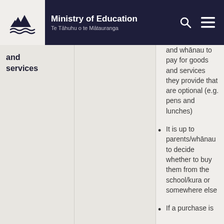Ministry of Education — Te Tāhuhu o te Mātauranga
and services
and whānau to pay for goods and services they provide that are optional (e.g. pens and lunches)
It is up to parents/whānau to decide whether to buy them from the school/kura or somewhere else
If a purchase is